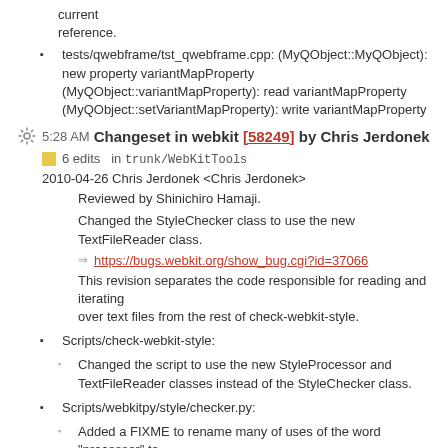tests/qwebframe/tst_qwebframe.cpp: (MyQObject::MyQObject): new property variantMapProperty (MyQObject::variantMapProperty): read variantMapProperty (MyQObject::setVariantMapProperty): write variantMapProperty
5:28 AM Changeset in webkit [58249] by Chris Jerdonek
6 edits  in trunk/WebKitTools
2010-04-26 Chris Jerdonek <Chris Jerdonek>
Reviewed by Shinichiro Hamaji.
Changed the StyleChecker class to use the new TextFileReader class.
https://bugs.webkit.org/show_bug.cgi?id=37066
This revision separates the code responsible for reading and iterating over text files from the rest of check-webkit-style.
Scripts/check-webkit-style:
Changed the script to use the new StyleProcessor and TextFileReader classes instead of the StyleChecker class.
Scripts/webkitpy/style/checker.py:
Added a FIXME to rename many of uses of the word "processor" to